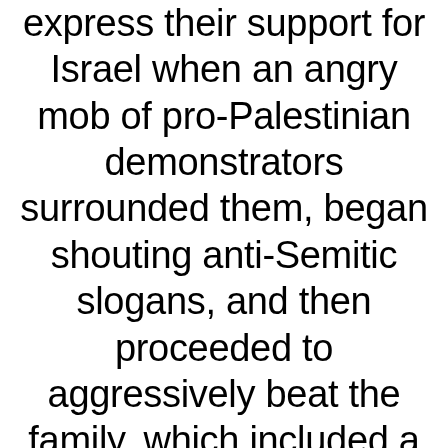express their support for Israel when an angry mob of pro-Palestinian demonstrators surrounded them, began shouting anti-Semitic slogans, and then proceeded to aggressively beat the family, which included a 22-year-old girl and a 52-year-old woman who had recently had stomach surgery